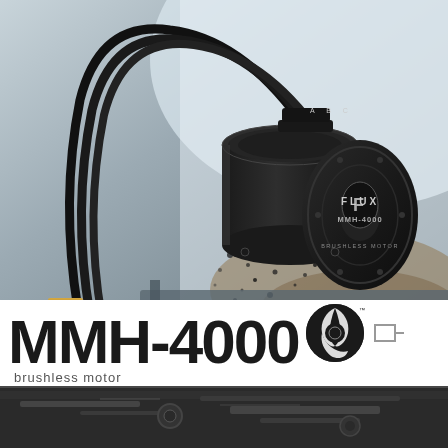[Figure (photo): Close-up product photo of the Flux MMH-4000 brushless motor, a cylindrical black anodized aluminum motor with three gold-tipped wire leads (phase wires A, B, C), mounted on a metal chassis with dirt/mud particles scattered around. The motor end cap displays the Flux logo and MMH-4000 BRUSHLESS MOTOR text.]
MMH-4000 brushless motor
[Figure (photo): Bottom strip showing a dark metallic chassis/drivetrain component, partially visible.]